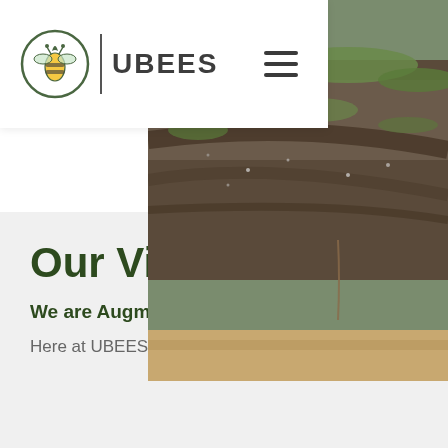UBEES navigation header with logo
[Figure (photo): Aerial or ground-level photo of a garden or field with soil, gravel, and green patches of grass or plants.]
Our Vision
We are Augmented Beekeepers
Here at UBEES, we are committed